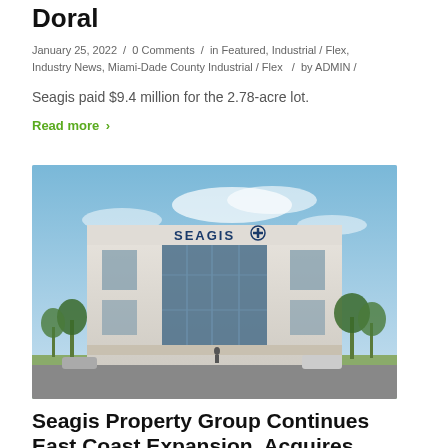Doral
January 25, 2022 / 0 Comments / in Featured, Industrial / Flex, Industry News, Miami-Dade County Industrial / Flex  / by ADMIN /
Seagis paid $9.4 million for the 2.78-acre lot.
Read more ›
[Figure (photo): Architectural rendering of a modern Seagis industrial/commercial building with glass facade and palm trees.]
Seagis Property Group Continues East Coast Expansion, Acquires $238 Million In Industrial Pool